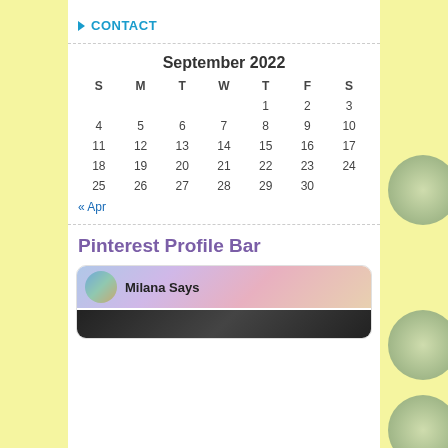CONTACT
| S | M | T | W | T | F | S |
| --- | --- | --- | --- | --- | --- | --- |
|  |  |  |  | 1 | 2 | 3 |
| 4 | 5 | 6 | 7 | 8 | 9 | 10 |
| 11 | 12 | 13 | 14 | 15 | 16 | 17 |
| 18 | 19 | 20 | 21 | 22 | 23 | 24 |
| 25 | 26 | 27 | 28 | 29 | 30 |  |
« Apr
Pinterest Profile Bar
[Figure (screenshot): Pinterest profile bar widget showing 'Milana Says' with a circular avatar on a colorful banner background, followed by a dark secondary bar.]